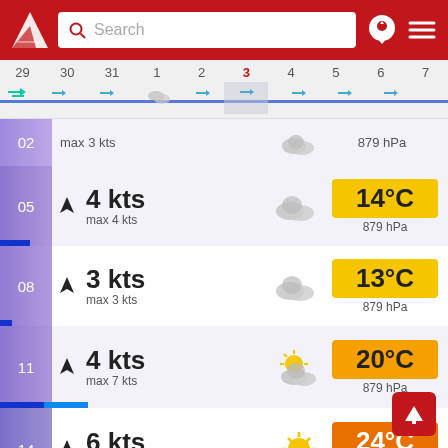[Figure (screenshot): Mobile weather app header with red background, logo, search bar, pin icon, and hamburger menu icon]
[Figure (infographic): Calendar date strip showing days 29,30,31,1,2,3(active/red),4,5,6,7 with weather wave icons]
02   max 3 kts   879 hPa
05  4 kts  max 4 kts  14°C  879 hPa
08  3 kts  max 3 kts  13°C  879 hPa
11  4 kts  max 7 kts  20°C  879 hPa
14  6 kts  max 11 kts  24°C  879 hPa
8 kts  26°C (partial)